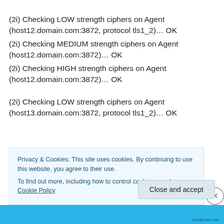(2i) Checking LOW strength ciphers on Agent (host12.domain.com:3872, protocol tls1_2)… OK
(2i) Checking MEDIUM strength ciphers on Agent (host12.domain.com:3872)… OK
(2i) Checking HIGH strength ciphers on Agent (host12.domain.com:3872)… OK
(2i) Checking LOW strength ciphers on Agent (host13.domain.com:3872, protocol tls1_2)… OK
Privacy & Cookies: This site uses cookies. By continuing to use this website, you agree to their use.
To find out more, including how to control cookies, see here: Cookie Policy
Close and accept